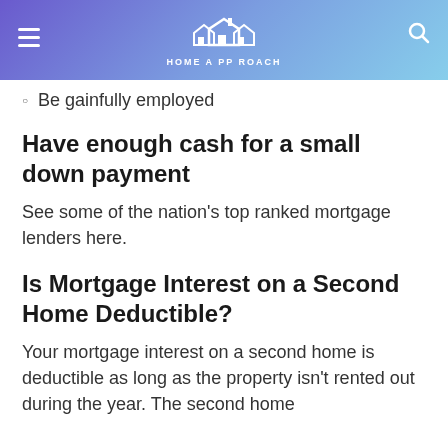HOME A PP ROACH
Be gainfully employed
Have enough cash for a small down payment
See some of the nation's top ranked mortgage lenders here.
Is Mortgage Interest on a Second Home Deductible?
Your mortgage interest on a second home is deductible as long as the property isn't rented out during the year. The second home